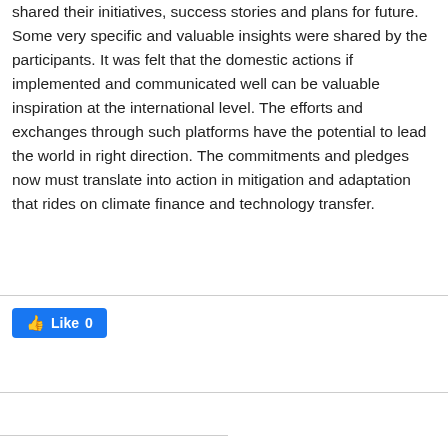shared their initiatives, success stories and plans for future. Some very specific and valuable insights were shared by the participants. It was felt that the domestic actions if implemented and communicated well can be valuable inspiration at the international level. The efforts and exchanges through such platforms have the potential to lead the world in right direction. The commitments and pledges now must translate into action in mitigation and adaptation that rides on climate finance and technology transfer.
[Figure (other): Facebook Like button showing thumbs up icon and 'Like 0' text on blue background]